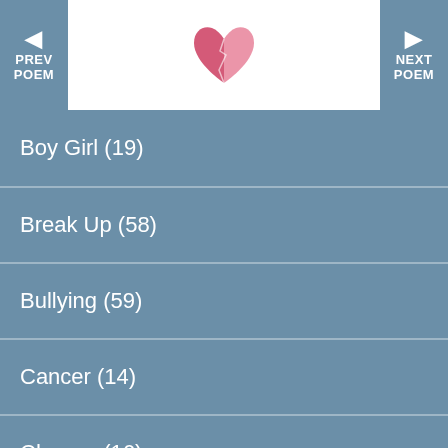[Figure (logo): Pink broken heart logo on white background, centered between navigation arrows]
Boy Girl (19)
Break Up (58)
Bullying (59)
Cancer (14)
Change (16)
Cheating (9)
Confused by Love (33)
Courage (19)
Crush (30)
Crying (16)
Dead (17)